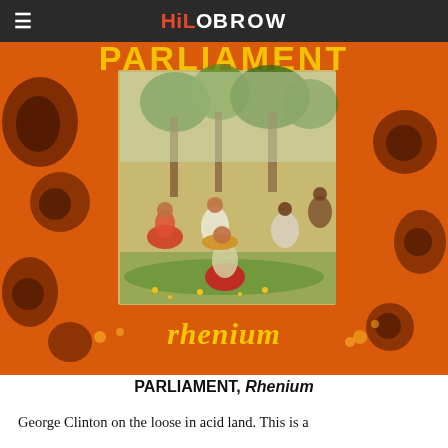HILOBROW
[Figure (photo): Album cover for Parliament's 'Rhenium' — an orange psychedelic marbled background with the word PARLIAMENT in large bold yellow letters at the top, a central photograph of a group of people in colorful outfits lounging on grass under trees, and the word 'rhenium' written in yellow-orange cursive lettering at the bottom.]
PARLIAMENT, Rhenium
George Clinton on the loose in acid land. This is a